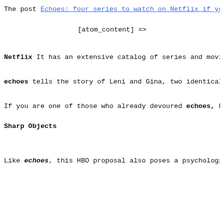The post Echoes: four series to watch on Netflix if you l
[atom_content] =>
Netflix It has an extensive catalog of series and movies,
echoes tells the story of Leni and Gina, two identical tw
If you are one of those who already devoured echoes, Belo
Sharp Objects
Like echoes, this HBO proposal also poses a psychological